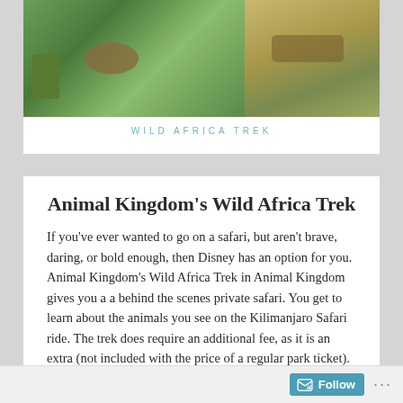[Figure (photo): Photo collage of Wild Africa Trek showing animals including hippo and African savanna landscape]
WILD AFRICA TREK
Animal Kingdom's Wild Africa Trek
If you've ever wanted to go on a safari, but aren't brave, daring, or bold enough, then Disney has an option for you. Animal Kingdom's Wild Africa Trek in Animal Kingdom gives you a a behind the scenes private safari. You get to learn about the animals you see on the Kilimanjaro Safari ride. The trek does require an additional fee, as it is an extra (not included with the price of a regular park ticket). It was totally worth it!
Follow